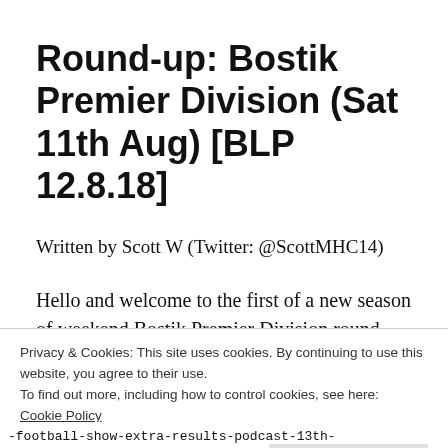Round-up: Bostik Premier Division (Sat 11th Aug) [BLP 12.8.18]
Written by Scott W (Twitter: @ScottMHC14)
Hello and welcome to the first of a new season of weekend Bostik Premier Division round-up's here on my blog.
Privacy & Cookies: This site uses cookies. By continuing to use this website, you agree to their use.
To find out more, including how to control cookies, see here: Cookie Policy
Close and accept
-football-show-extra-results-podcast-13th-